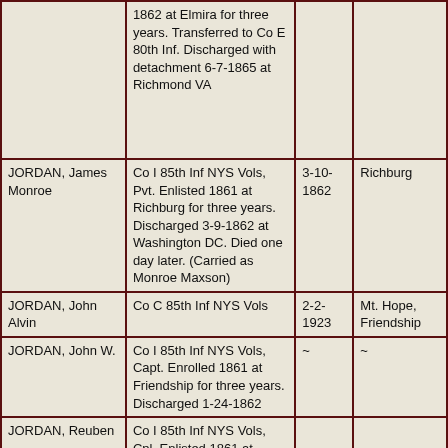| Name | Service | Death Date | Town |
| --- | --- | --- | --- |
|  | 1862 at Elmira for three years. Transferred to Co E 80th Inf. Discharged with detachment 6-7-1865 at Richmond VA |  |  |
| JORDAN, James Monroe | Co I 85th Inf NYS Vols, Pvt. Enlisted 1861 at Richburg for three years. Discharged 3-9-1862 at Washington DC. Died one day later. (Carried as Monroe Maxson) | 3-10-1862 | Richburg |
| JORDAN, John Alvin | Co C 85th Inf NYS Vols | 2-2-1923 | Mt. Hope, Friendship |
| JORDAN, John W. | Co I 85th Inf NYS Vols, Capt. Enrolled 1861 at Friendship for three years. Discharged 1-24-1862 | ~ | ~ |
| JORDAN, Reuben | Co I 85th Inf NYS Vols, Cpl. Enlisted 1861 at Richburg for three years. |  |  |